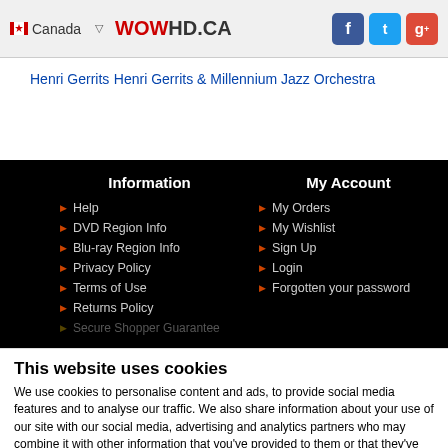Canada | WOWHD.CA | Facebook, Twitter, Google+
Henri Gerrits
Henri Gerrits & Millennium Jazz Orchestra
Information
Help
DVD Region Info
Blu-ray Region Info
Privacy Policy
Terms of Use
Returns Policy
Secure Shopper Guarantee
My Account
My Orders
My Wishlist
Sign Up
Login
Forgotten your password
This website uses cookies
We use cookies to personalise content and ads, to provide social media features and to analyse our traffic. We also share information about your use of our site with our social media, advertising and analytics partners who may combine it with other information that you've provided to them or that they've collected from your use of their services.
OK | Show details